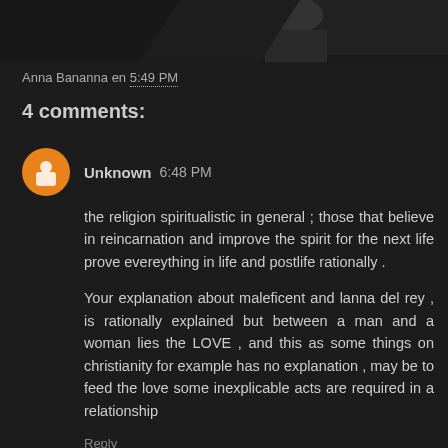[Figure (photo): Partial top image strip showing a dark figure, partially cropped at top of page]
Anna Bananna en 5:49 PM
4 comments:
Unknown 6:48 PM
the religion spiritualistic in general ; those that believe in reincarnation and improve the spirit for the next life prove evereything in life and postlife rationally .
Your explanation about maleficent and lanna del rey , is rationally explained but between a man and a woman lies the LOVE , and this as some things on christianity for example has no explanation , may be to feed the love some inexplicable acts are required in a relationship
Reply